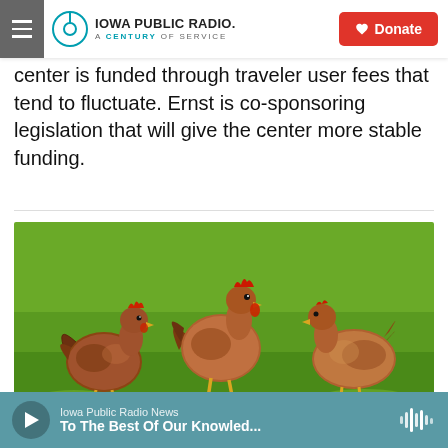Iowa Public Radio — A Century of Service | Donate
center is funded through traveler user fees that tend to fluctuate. Ernst is co-sponsoring legislation that will give the center more stable funding.
[Figure (photo): Three brown/red chickens standing on green grass in an outdoor free-range setting.]
Iowa Public Radio News — To The Best Of Our Knowled...